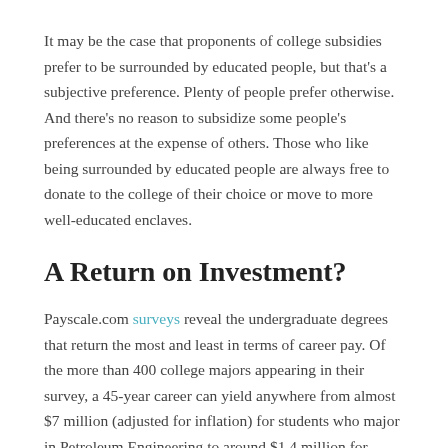It may be the case that proponents of college subsidies prefer to be surrounded by educated people, but that's a subjective preference. Plenty of people prefer otherwise. And there's no reason to subsidize some people's preferences at the expense of others. Those who like being surrounded by educated people are always free to donate to the college of their choice or move to more well-educated enclaves.
A Return on Investment?
Payscale.com surveys reveal the undergraduate degrees that return the most and least in terms of career pay. Of the more than 400 college majors appearing in their survey, a 45-year career can yield anywhere from almost $7 million (adjusted for inflation) for students who major in Petroleum Engineering to around $1.4 million for those